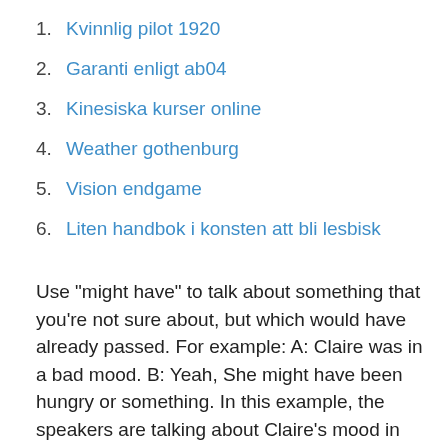1. Kvinnlig pilot 1920
2. Garanti enligt ab04
3. Kinesiska kurser online
4. Weather gothenburg
5. Vision endgame
6. Liten handbok i konsten att bli lesbisk
Use "might have" to talk about something that you're not sure about, but which would have already passed. For example: A: Claire was in a bad mood. B: Yeah, She might have been hungry or something. In this example, the speakers are talking about Claire's mood in the past. But the second